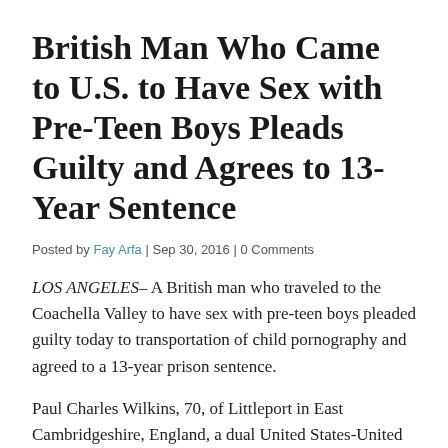British Man Who Came to U.S. to Have Sex with Pre-Teen Boys Pleads Guilty and Agrees to 13-Year Sentence
Posted by Fay Arfa | Sep 30, 2016 | 0 Comments
LOS ANGELES– A British man who traveled to the Coachella Valley to have sex with pre-teen boys pleaded guilty today to transportation of child pornography and agreed to a 13-year prison sentence.
Paul Charles Wilkins, 70, of Littleport in East Cambridgeshire, England, a dual United States-United Kingdom citizen, was charged earlier this year in a